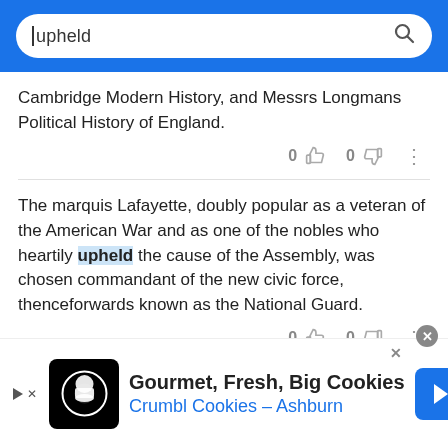upheld [search query]
Cambridge Modern History, and Messrs Longmans Political History of England.
The marquis Lafayette, doubly popular as a veteran of the American War and as one of the nobles who heartily upheld the cause of the Assembly, was chosen commandant of the new civic force, thenceforwards known as the National Guard.
At the council of Frankfort in 794 Alcuin upheld the
[Figure (screenshot): Advertisement banner for Crumbl Cookies - Ashburn showing logo and navigation icon]